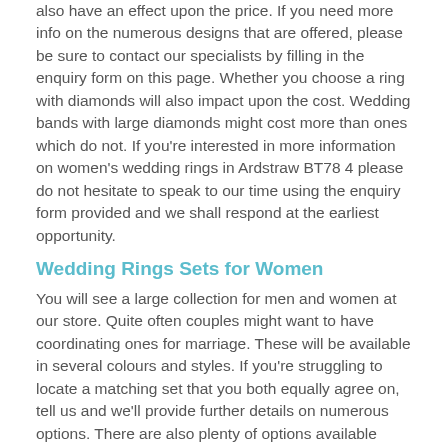also have an effect upon the price. If you need more info on the numerous designs that are offered, please be sure to contact our specialists by filling in the enquiry form on this page. Whether you choose a ring with diamonds will also impact upon the cost. Wedding bands with large diamonds might cost more than ones which do not. If you're interested in more information on women's wedding rings in Ardstraw BT78 4 please do not hesitate to speak to our time using the enquiry form provided and we shall respond at the earliest opportunity.
Wedding Rings Sets for Women
You will see a large collection for men and women at our store. Quite often couples might want to have coordinating ones for marriage. These will be available in several colours and styles. If you're struggling to locate a matching set that you both equally agree on, tell us and we'll provide further details on numerous options. There are also plenty of options available when it comes to engagement rings http://www.weddingringsdirect.org.uk/engagement/strabane/ardstraw/ be sure to take a look at these as well. Wedding bands are one of the most significant items you will purchase, as it is a symbol of